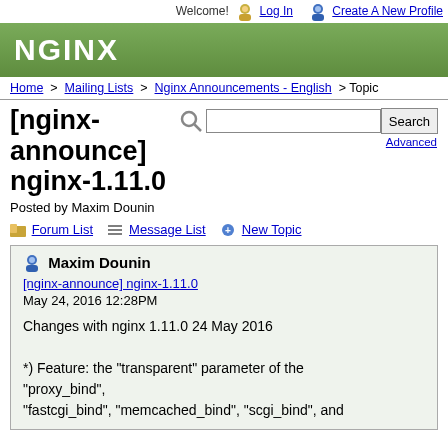Welcome! Log In  Create A New Profile
[Figure (logo): NGINX green header logo]
Home > Mailing Lists > Nginx Announcements - English > Topic
[nginx-announce] nginx-1.11.0
Posted by Maxim Dounin
Forum List   Message List   New Topic
Maxim Dounin
[nginx-announce] nginx-1.11.0
May 24, 2016 12:28PM

Changes with nginx 1.11.0 24 May 2016

*) Feature: the "transparent" parameter of the "proxy_bind",
"fastcgi_bind", "memcached_bind", "scgi_bind", and